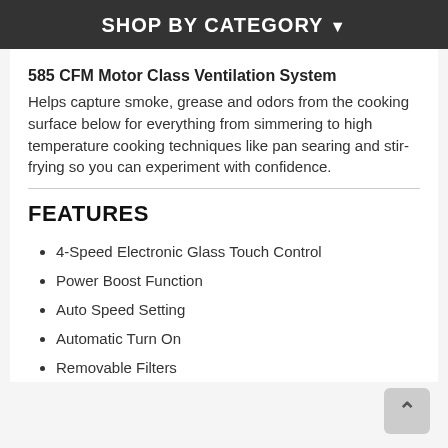SHOP BY CATEGORY ▾
585 CFM Motor Class Ventilation System
Helps capture smoke, grease and odors from the cooking surface below for everything from simmering to high temperature cooking techniques like pan searing and stir-frying so you can experiment with confidence.
FEATURES
4-Speed Electronic Glass Touch Control
Power Boost Function
Auto Speed Setting
Automatic Turn On
Removable Filters